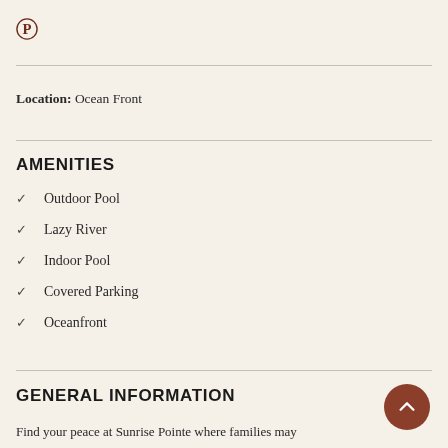[Figure (logo): Pinterest circular logo icon in dark red/maroon color]
Location: Ocean Front
AMENITIES
Outdoor Pool
Lazy River
Indoor Pool
Covered Parking
Oceanfront
GENERAL INFORMATION
Find your peace at Sunrise Pointe where families may